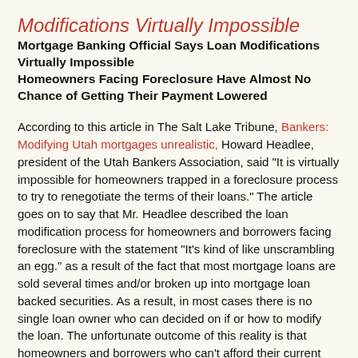Modifications Virtually Impossible
Mortgage Banking Official Says Loan Modifications Virtually Impossible
Homeowners Facing Foreclosure Have Almost No Chance of Getting Their Payment Lowered
According to this article in The Salt Lake Tribune, Bankers: Modifying Utah mortgages unrealistic, Howard Headlee, president of the Utah Bankers Association, said "It is virtually impossible for homeowners trapped in a foreclosure process to try to renegotiate the terms of their loans." The article goes on to say that Mr. Headlee described the loan modification process for homeowners and borrowers facing foreclosure with the statement "It's kind of like unscrambling an egg." as a result of the fact that most mortgage loans are sold several times and/or broken up into mortgage loan backed securities. As a result, in most cases there is no single loan owner who can decided on if or how to modify the loan. The unfortunate outcome of this reality is that homeowners and borrowers who can't afford their current